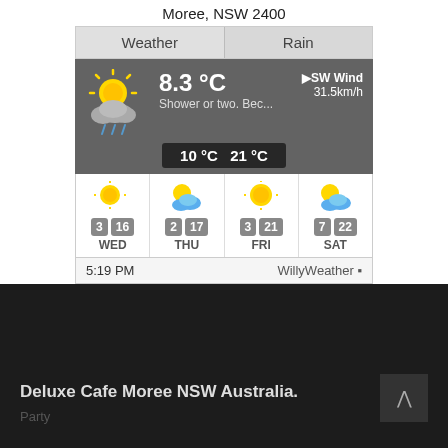Moree, NSW 2400
| Weather | Rain |
| --- | --- |
[Figure (screenshot): Weather widget showing 8.3°C, Shower or two. Bec..., SW Wind 31.5km/h, min 10°C max 21°C]
| WED | THU | FRI | SAT |
| --- | --- | --- | --- |
| 3 | 16 | 2 | 17 | 3 | 21 | 7 | 22 |
5:19 PM  WillyWeather
Deluxe Cafe Moree NSW Australia.
Party